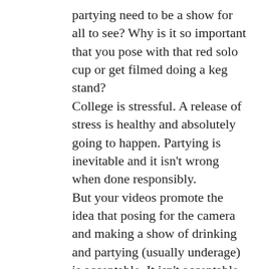partying need to be a show for all to see? Why is it so important that you pose with that red solo cup or get filmed doing a keg stand? College is stressful. A release of stress is healthy and absolutely going to happen. Partying is inevitable and it isn't wrong when done responsibly. But your videos promote the idea that posing for the camera and making a show of drinking and partying (usually underage) is acceptable. It isn't acceptable. It isn't beneficial. It promotes immature behavior and the idea that individuals need to party to have the 'college experience'. You are not providing anything